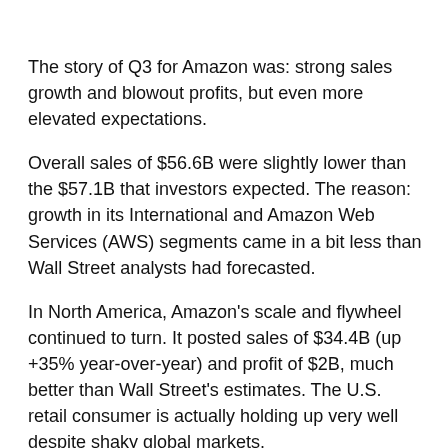The story of Q3 for Amazon was: strong sales growth and blowout profits, but even more elevated expectations.
Overall sales of $56.6B were slightly lower than the $57.1B that investors expected. The reason: growth in its International and Amazon Web Services (AWS) segments came in a bit less than Wall Street analysts had forecasted.
In North America, Amazon's scale and flywheel continued to turn. It posted sales of $34.4B (up +35% year-over-year) and profit of $2B, much better than Wall Street's estimates. The U.S. retail consumer is actually holding up very well despite shaky global markets.